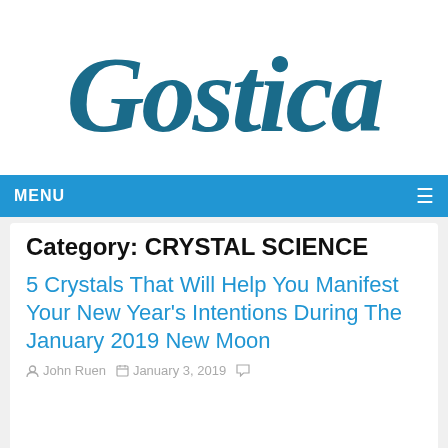[Figure (logo): Gostica website logo in teal/dark blue brush-stroke style lettering]
MENU ≡
Category: CRYSTAL SCIENCE
5 Crystals That Will Help You Manifest Your New Year's Intentions During The January 2019 New Moon
John Ruen   January 3, 2019